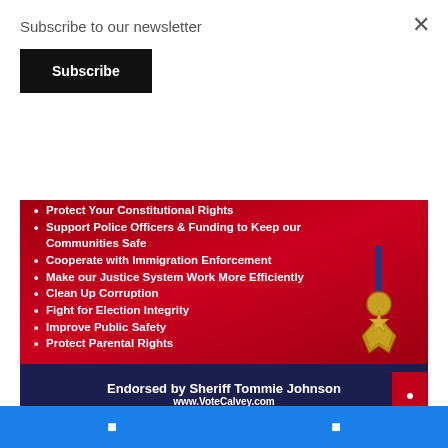Subscribe to our newsletter
Subscribe
[Figure (infographic): Political campaign ad on red background with bullet points listing policy positions, a Bronze Star medal image, endorsement by Sheriff Tommie Johnson, and website www.VoteCalvey.com]
Protect Your Constitutional Rights
Support Police Officers & Funding to Keep our Communities Safe
Cooperate with Immigration Enforcement
Make our Justice System Work More Efficiently
Clean Up Corruption
Fight for Election Integrity
Improve Public Safety
Protect Parental Rights
Endorsed by Sheriff Tommie Johnson
www.VoteCalvey.com